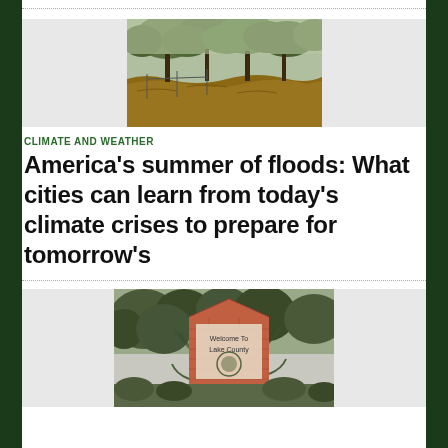[Figure (photo): Three-panel image strip: left and right panels are light gray placeholders; center panel shows a flood scene with brown muddy water and trees]
CLIMATE AND WEATHER
America’s summer of floods: What cities can learn from today’s climate crises to prepare for tomorrow’s
[Figure (photo): Three-panel image strip: left gray placeholder, center shows a brick welcome sign overgrown with vines reading 'Welcome To Lake County', right gray placeholder]